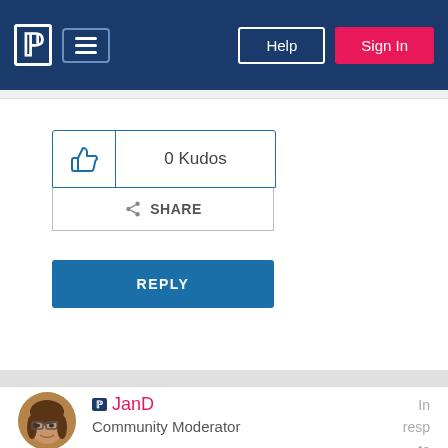P [menu] Help Sign In
[Figure (other): Kudos thumbs-up button with 0 Kudos count]
0 Kudos
SHARE
REPLY
[Figure (photo): Avatar photo of user JanD, a woman with glasses]
JanD
Community Moderator
In resp to f323